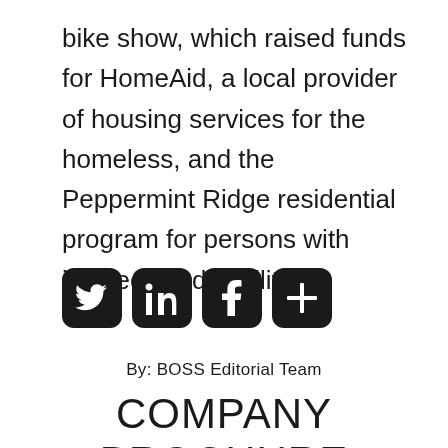bike show, which raised funds for HomeAid, a local provider of housing services for the homeless, and the Peppermint Ridge residential program for persons with intellectual disabilities.
[Figure (other): Social media share icons: Twitter, LinkedIn, Facebook, and a plus/share button, each in a dark rounded square]
By: BOSS Editorial Team
COMPANY BROCHURE